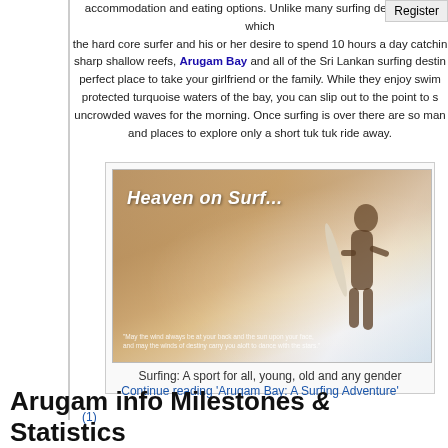accommodation and eating options. Unlike many surfing destinations which cater to the hard core surfer and his or her desire to spend 10 hours a day catching waves off sharp shallow reefs, Arugam Bay and all of the Sri Lankan surfing destinations are the perfect place to take your girlfriend or the family. While they enjoy swimming in the protected turquoise waters of the bay, you can slip out to the point to surf some uncrowded waves for the morning. Once surfing is over there are so many things to do and places to explore only a short tuk tuk ride away.
[Figure (photo): Photo of a woman carrying a surfboard on a sandy beach with waves, titled 'Heaven on Surf...' with a quote at the bottom]
Surfing: A sport for all, young, old and any gender
Continue reading 'Arugam Bay: A Surfing Adventure'
(1)
Arugam info Milestones & Statistics